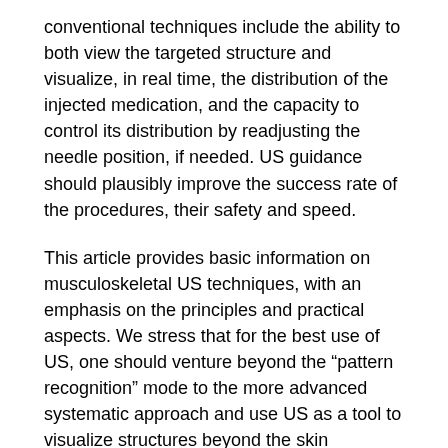conventional techniques include the ability to both view the targeted structure and visualize, in real time, the distribution of the injected medication, and the capacity to control its distribution by readjusting the needle position, if needed. US guidance should plausibly improve the success rate of the procedures, their safety and speed.
This article provides basic information on musculoskeletal US techniques, with an emphasis on the principles and practical aspects. We stress that for the best use of US, one should venture beyond the “pattern recognition” mode to the more advanced systematic approach and use US as a tool to visualize structures beyond the skin (sonoanatomy mode).
We discuss the sonographic appearance of different tissues, introduce the reader to commonly used US-related terminology, cover basic machine “knobology” and fundamentals of US probe selection and manipulation. At the end, we discuss US-guided needle advancement. We only briefly touch on topics dealing with physics, artifacts, or sonopathology, which are available elsewhere in the medical literature.